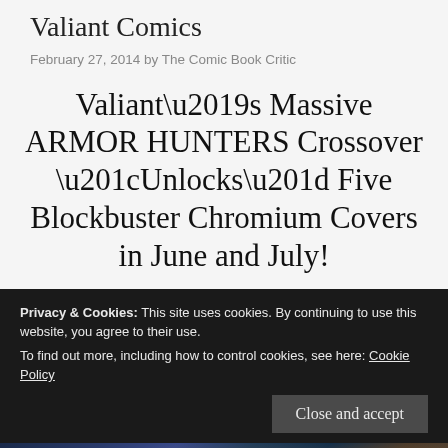Valiant Comics
February 27, 2014 by The Comic Book Critic
Valiant’s Massive ARMOR HUNTERS Crossover “Unlocks” Five Blockbuster Chromium Covers in June and July!
Privacy & Cookies: This site uses cookies. By continuing to use this website, you agree to their use.
To find out more, including how to control cookies, see here: Cookie Policy
Close and accept
[Figure (photo): Bottom portion of comic book artwork showing colorful illustrated characters in space/fantasy setting, partially visible]